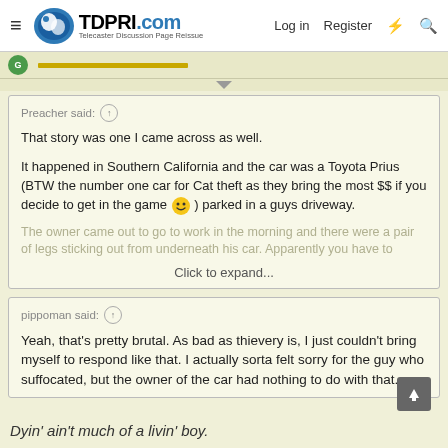TDPRI.com — Telecaster Discussion Page Reissue | Log in | Register
Preacher said: ↑

That story was one I came across as well.

It happened in Southern California and the car was a Toyota Prius (BTW the number one car for Cat theft as they bring the most $$ if you decide to get in the game 🙂 ) parked in a guys driveway. The owner came out to go to work in the morning and there were a pair of legs sticking out from underneath his car. Apparently you have to

Click to expand...
pippoman said: ↑

Yeah, that's pretty brutal. As bad as thievery is, I just couldn't bring myself to respond like that. I actually sorta felt sorry for the guy who suffocated, but the owner of the car had nothing to do with that.
Dyin' ain't much of a livin' boy.